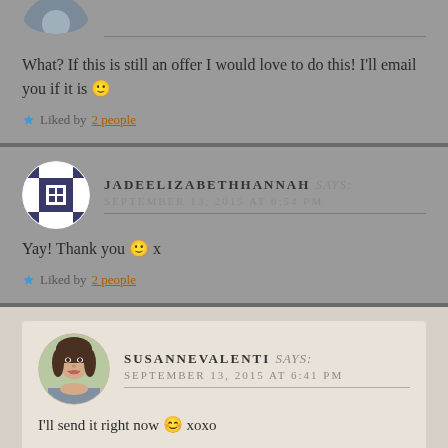What? If this is still an offer I would love to do this! I'll email you if it is 🙂
Liked by 2 people
JADEELIZABETHHANNAH says: SEPTEMBER 13, 2015 AT 6:54 PM
Yay! Thank you 🙂 x
Liked by 2 people
SUSANNEVALENTI says: SEPTEMBER 13, 2015 AT 6:41 PM
I'll send it right now 😊 xoxo